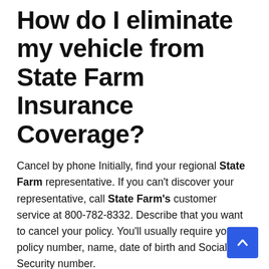How do I eliminate my vehicle from State Farm Insurance Coverage?
Cancel by phone Initially, find your regional State Farm representative. If you can't discover your representative, call State Farm's customer service at 800-782-8332. Describe that you want to cancel your policy. You'll usually require your policy number, name, date of birth and Social Security number.
How do I grumble about a State Farm